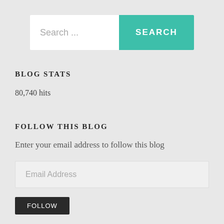[Figure (other): Search bar with text input placeholder 'Search ...' and a teal SEARCH button]
BLOG STATS
80,740 hits
FOLLOW THIS BLOG
Enter your email address to follow this blog
[Figure (other): Email Address input field placeholder]
[Figure (other): Follow button (partially visible at bottom)]